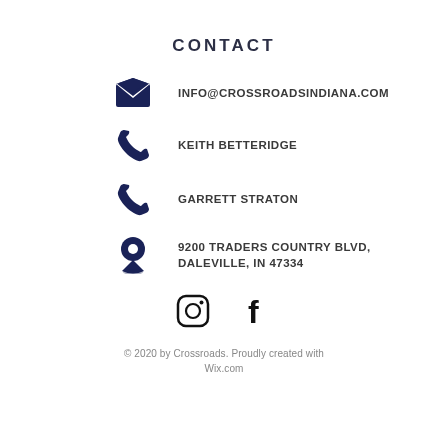CONTACT
INFO@CROSSROADSINDIANA.COM
KEITH BETTERIDGE
GARRETT STRATON
9200 TRADERS COUNTRY BLVD, DALEVILLE, IN 47334
[Figure (illustration): Instagram and Facebook social media icons]
© 2020 by Crossroads. Proudly created with Wix.com